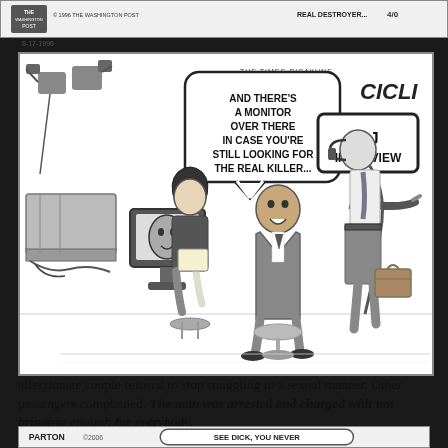[Figure (illustration): Top strip showing a partial editorial cartoon with text 'THE WASHINGTON POST' and 'REAL DESTROYER...' with a date 8-17-1996]
[Figure (illustration): Editorial cartoon from The Times-Picayune by CICLI showing an OJ Simpson interview scene. A man in a suit sits in a chair being interviewed, with a TV monitor showing a face. A person holds a sign reading 'OJ INTERVIEW'. A speech bubble reads: 'AND THERE'S A MONITOR OVER THERE IN CASE YOU'RE STILL LOOKING FOR THE REAL KILLER...']
affectionate couple refused to stop snuggling in a sexual manner. Other passengers complained. The man was arrested and charged with not bringing enough for everybody.
[Figure (illustration): Bottom strip showing partial cartoon by PARTON with text 'SEE DICK, YOU NEVER']